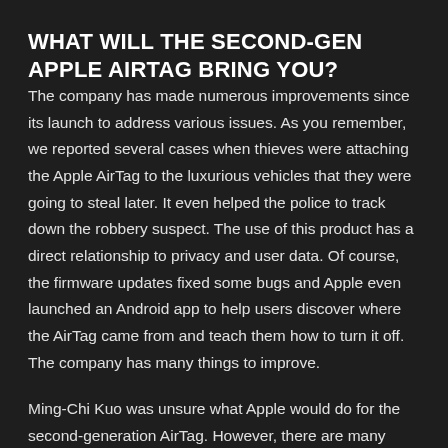WHAT WILL THE SECOND-GEN APPLE AIRTAG BRING YOU?
The company has made numerous improvements since its launch to address various issues. As you remember, we reported several cases when thieves were attaching the Apple AirTag to the luxurious vehicles that they were going to steal later. It even helped the police to track down the robbery suspect. The use of this product has a direct relationship to privacy and user data. Of course, the firmware updates fixed some bugs and Apple even launched an Android app to help users discover where the AirTag came from and teach them how to turn it off. The company has many things to improve.
Ming-Chi Kuo was unsure what Apple would do for the second-generation AirTag. However, there are many reasons to believe that Apple will try to improve antitracking, speakers and battery life. Apple may also change its design so users can